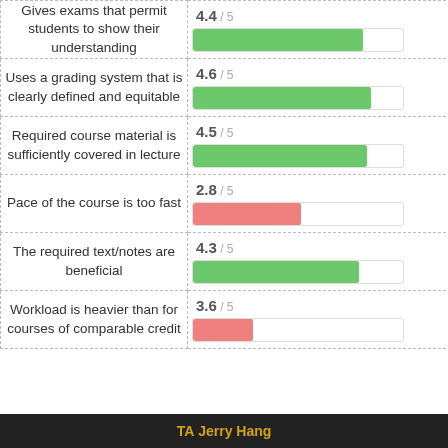[Figure (bar-chart): Course evaluation ratings]
TA Jerry Hang